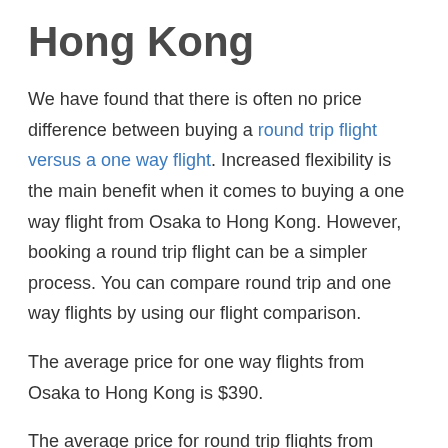Hong Kong
We have found that there is often no price difference between buying a round trip flight versus a one way flight. Increased flexibility is the main benefit when it comes to buying a one way flight from Osaka to Hong Kong. However, booking a round trip flight can be a simpler process. You can compare round trip and one way flights by using our flight comparison.
The average price for one way flights from Osaka to Hong Kong is $390.
The average price for round trip flights from Osaka to Hong Kong is $400.